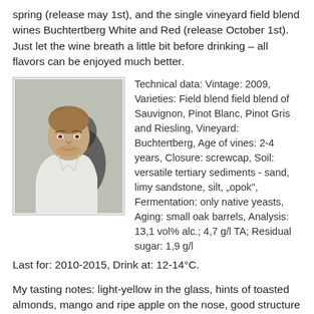spring (release may 1st), and the single vineyard field blend wines Buchtertberg White and Red (release October 1st). Just let the wine breath a little bit before drinking – all flavors can be enjoyed much better.
[Figure (photo): Portrait photo of a young man with light brown hair, wearing a white shirt, photographed outdoors.]
Technical data: Vintage: 2009, Varieties: Field blend field blend of Sauvignon, Pinot Blanc, Pinot Gris and Riesling, Vineyard: Buchtertberg, Age of vines: 2-4 years, Closure: screwcap, Soil: versatile tertiary sediments - sand, limy sandstone, silt, „opok", Fermentation: only native yeasts, Aging: small oak barrels, Analysis: 13,1 vol% alc.; 4,7 g/l TA; Residual sugar: 1,9 g/l
Last for: 2010-2015, Drink at: 12-14°C.
My tasting notes: light-yellow in the glass, hints of toasted almonds, mango and ripe apple on the nose, good structure and acidity, a earthy, salty and also fruit on the palate, long finish.